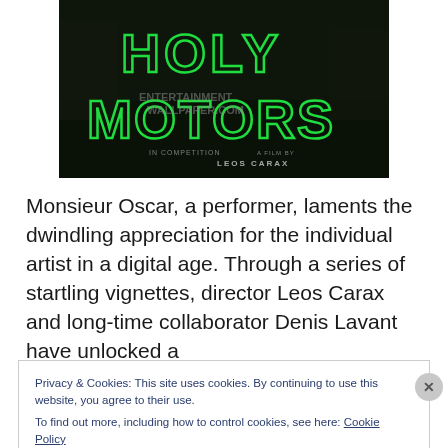[Figure (photo): Movie poster for 'Holy Motors', a film by Leos Carax. Dark background with large green neon-style text spelling 'HOLY MOTORS'. Watermark reads 'ENTERTAINMENTWALLPAPER.COM'. Bottom text: 'IN COMPETITION', 'A FILM BY', 'LEOS CARAX'.]
Monsieur Oscar, a performer, laments the dwindling appreciation for the individual artist in a digital age. Through a series of startling vignettes, director Leos Carax and long-time collaborator Denis Lavant have unlocked a
Privacy & Cookies: This site uses cookies. By continuing to use this website, you agree to their use.
To find out more, including how to control cookies, see here: Cookie Policy